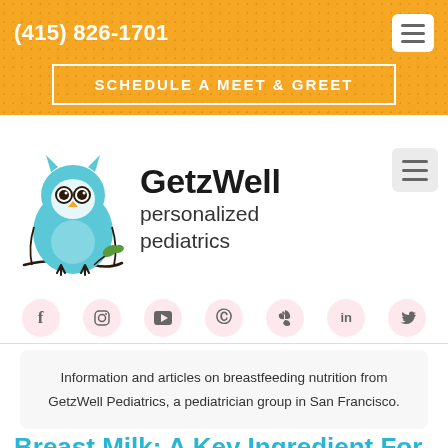(415) 826-1701
SCHEDULE A MEET & GREET
[Figure (logo): GetzWell personalized pediatrics logo with a light blue owl illustration and text 'GetzWell personalized pediatrics']
[Figure (infographic): Social media icons row: Facebook, Instagram, YouTube, Pinterest, Yelp, LinkedIn, Twitter — each in a pink circle]
Information and articles on breastfeeding nutrition from GetzWell Pediatrics, a pediatrician group in San Francisco.
Breast Milk: A Key Ingredient For A